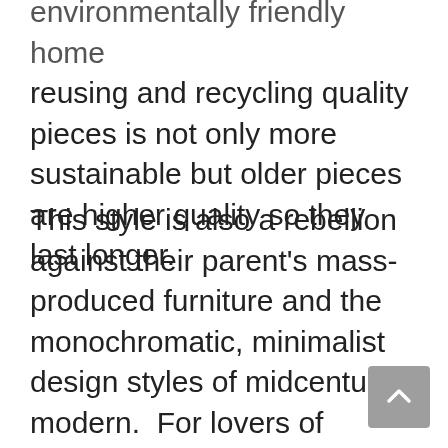environmentally friendly home reusing and recycling quality pieces is not only more sustainable but older pieces are higher quality so they last longer.
This style is also a rebellion against their parent's mass-produced furniture and the monochromatic, minimalist design styles of midcentury modern. For lovers of Grandmillennial style – minimalism is so last decade. This style favors playful collections – antique plates, colored vases, vintage china, and other collectibles showcased on